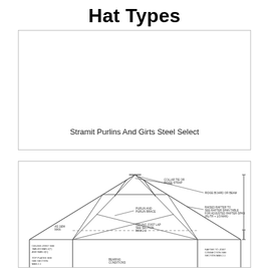Hat Types
Stramit Purlins And Girts Steel Select
[Figure (engineering-diagram): Technical cross-section diagram of a roof framing system (hat type) showing collar tie, ridge strap, ridge board or beam, raised rafter, purlin and purlin brace, ceiling joist lap, rafter, ceiling joint, top plates, bearing conditions, and rafter to joist connection with section references.]